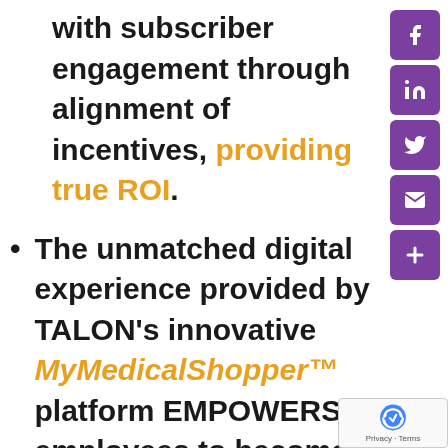with subscriber engagement through alignment of incentives, providing true ROI.
The unmatched digital experience provided by TALON's innovative MyMedicalShopper™ platform EMPOWERS employees to become informed consumers and make smart, economical decisions about their own